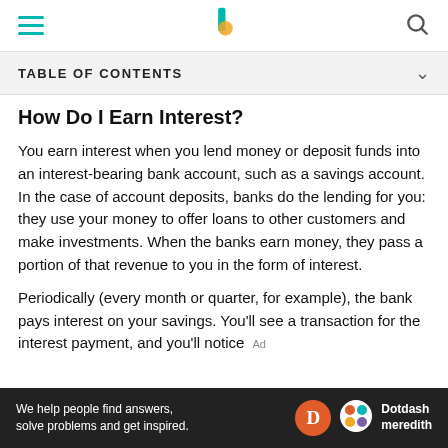TABLE OF CONTENTS
How Do I Earn Interest?
You earn interest when you lend money or deposit funds into an interest-bearing bank account, such as a savings account. In the case of account deposits, banks do the lending for you: they use your money to offer loans to other customers and make investments. When the banks earn money, they pass a portion of that revenue to you in the form of interest.
Periodically (every month or quarter, for example), the bank pays interest on your savings. You'll see a transaction for the interest payment, and you'll notice
[Figure (logo): Dotdash Meredith advertisement banner at bottom of page with text 'We help people find answers, solve problems and get inspired.']